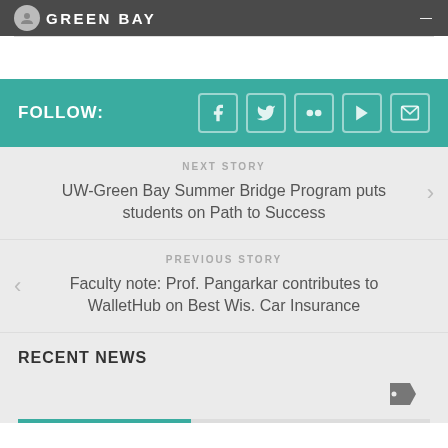GREEN BAY
FOLLOW:
NEXT STORY
UW-Green Bay Summer Bridge Program puts students on Path to Success
PREVIOUS STORY
Faculty note: Prof. Pangarkar contributes to WalletHub on Best Wis. Car Insurance
RECENT NEWS